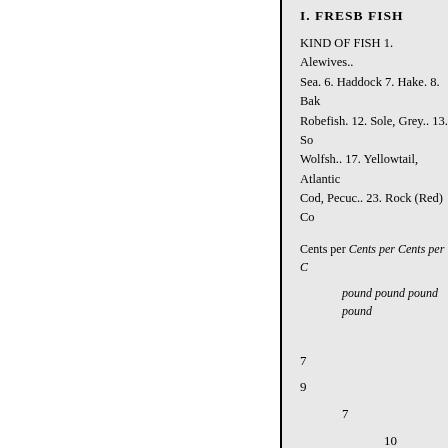I. FRESB FISH
KIND OF FISH 1. Alewives.. Sea. 6. Haddock 7. Hake. 8. Bak Robefish. 12. Sole, Grey.. 13. So Wolfsh.. 17. Yellowtail, Atlantic Cod, Pecuc.. 23. Rock (Red) Co
Cents per Cents per Cents per C
pound pound pound pound
7
9
7
10
24. Sablefish.
10